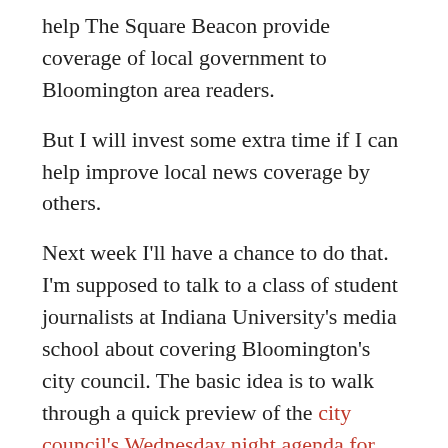help The Square Beacon provide coverage of local government to Bloomington area readers.
But I will invest some extra time if I can help improve local news coverage by others.
Next week I'll have a chance to do that. I'm supposed to talk to a class of student journalists at Indiana University's media school about covering Bloomington's city council. The basic idea is to walk through a quick preview of the city council's Wednesday night agenda for March 4.
Meeting Minutes
One of the first items, approval of meeting minutes, is about as as boring as they come. Is there a story